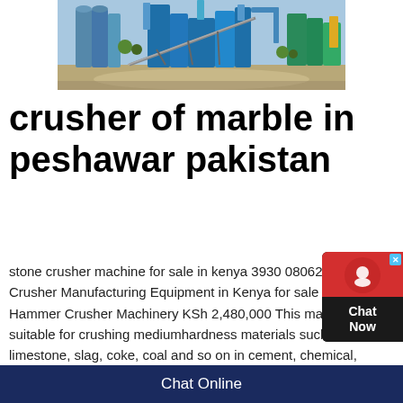[Figure (photo): Industrial stone crushing machinery in blue color at an outdoor facility]
crusher of marble in peshawar pakistan
stone crusher machine for sale in kenya 3930 08062021 Stone Crusher Manufacturing Equipment in Kenya for sale Used Stone Hammer Crusher Machinery KSh 2,480,000 This machine is suitable for crushing mediumhardness materials such as limestone, slag, coke, coal and so on in cement, chemical, electric power, metallurgy and other industrialFind the best Crusher in Pakistan OLX Pakistan offers online local classified ads for Crusher Post your classified ad for free in various categories like mobiles, tablets, cars, bikes,
Chat Online